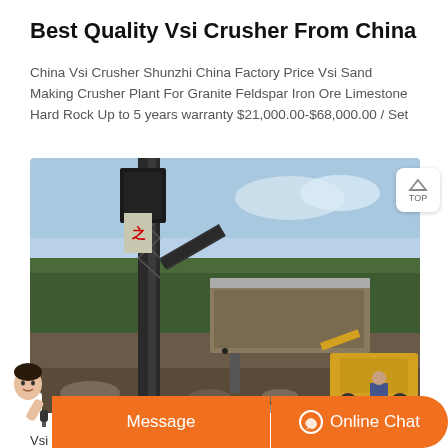Best Quality Vsi Crusher From China
China Vsi Crusher Shunzhi China Factory Price Vsi Sand Making Crusher Plant For Granite Feldspar Iron Ore Limestone Hard Rock Up to 5 years warranty $21,000.00-$68,000.00 / Set
[Figure (photo): Outdoor photo of a VSI sand making crusher plant installation with tall vertical conveyor structure, screening equipment, and yellow loader vehicle, set against trees and blue sky.]
Vsi Crusherchina Vsi Crusher